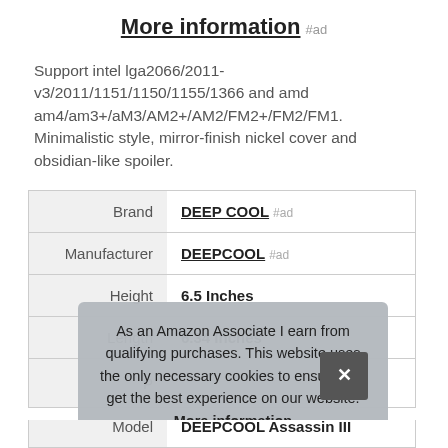More information #ad
Support intel lga2066/2011-v3/2011/1151/1150/1155/1366 and amd am4/am3+/aM3/AM2+/AM2/FM2+/FM2/FM1. Minimalistic style, mirror-finish nickel cover and obsidian-like spoiler.
|  |  |
| --- | --- |
| Brand | DEEP COOL #ad |
| Manufacturer | DEEPCOOL #ad |
| Height | 6.5 Inches |
| Length | 6.34 Inches |
| P |  |
| Model | DEEPCOOL Assassin III |
As an Amazon Associate I earn from qualifying purchases. This website uses the only necessary cookies to ensure you get the best experience on our website. More information